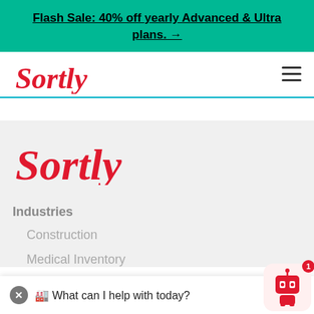Flash Sale: 40% off yearly Advanced & Ultra plans. →
[Figure (logo): Sortly logo in red italic script font in navigation bar]
[Figure (logo): Sortly logo in red italic script font, large, in gray section]
Industries
Construction
Medical Inventory
[Figure (other): Chat widget with close button and robot icon with badge showing '1', text: 'What can I help with today?']